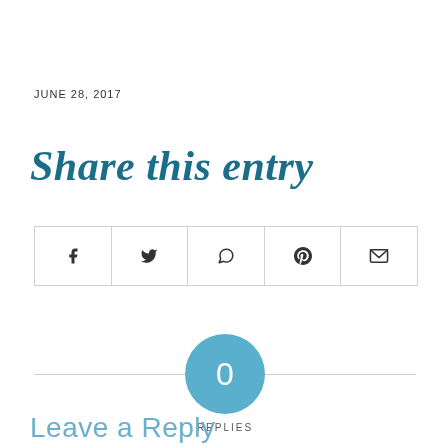JUNE 28, 2017
Share this entry
[Figure (other): Row of 5 social share icon buttons: Facebook (f), Twitter (bird), WhatsApp (phone), Pinterest (P), Email (envelope), arranged in a bordered horizontal row]
[Figure (other): Circular teal badge with number 0 inside, labeled REPLIES below, with a horizontal divider line behind it]
Leave a Reply